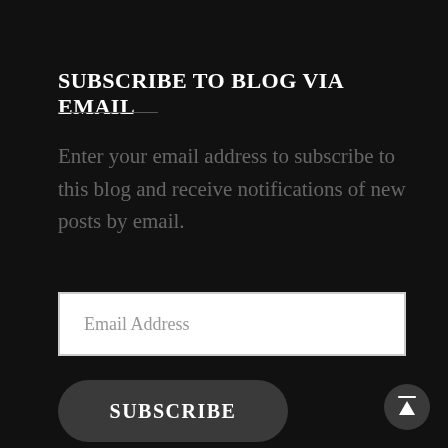SUBSCRIBE TO BLOG VIA EMAIL
Enter your email address to subscribe to this blog and receive notifications of new posts by email.
[Figure (other): Email address input field with placeholder text 'Email Address']
[Figure (other): SUBSCRIBE button, dark rounded rectangle]
[Figure (other): Scroll-to-top button, dark circle with upward arrow and overline, bottom right corner]